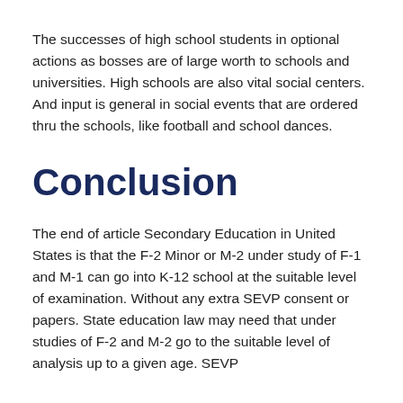The successes of high school students in optional actions as bosses are of large worth to schools and universities. High schools are also vital social centers. And input is general in social events that are ordered thru the schools, like football and school dances.
Conclusion
The end of article Secondary Education in United States is that the F-2 Minor or M-2 under study of F-1 and M-1 can go into K-12 school at the suitable level of examination. Without any extra SEVP consent or papers. State education law may need that under studies of F-2 and M-2 go to the suitable level of analysis up to a given age. SEVP